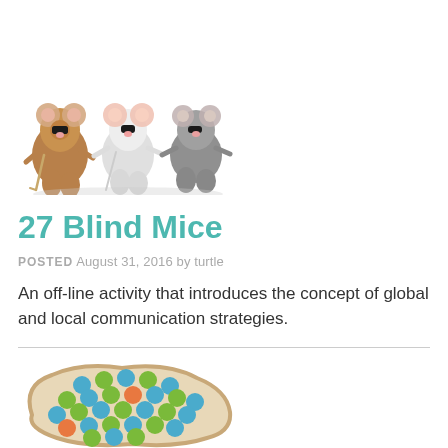[Figure (illustration): Three cartoon blind mice characters standing together, wearing sunglasses, one holding a cane]
27 Blind Mice
POSTED August 31, 2016 by turtle
An off-line activity that introduces the concept of global and local communication strategies.
[Figure (illustration): A cluster of colorful dots (blue, green, orange) arranged within an organic blob shape with a tan/beige border, representing mice or a network diagram]